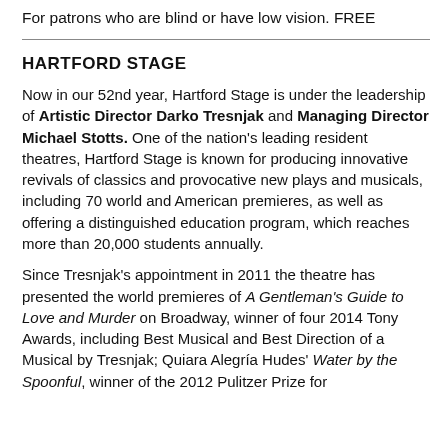For patrons who are blind or have low vision. FREE
HARTFORD STAGE
Now in our 52nd year, Hartford Stage is under the leadership of Artistic Director Darko Tresnjak and Managing Director Michael Stotts. One of the nation's leading resident theatres, Hartford Stage is known for producing innovative revivals of classics and provocative new plays and musicals, including 70 world and American premieres, as well as offering a distinguished education program, which reaches more than 20,000 students annually.
Since Tresnjak's appointment in 2011 the theatre has presented the world premieres of A Gentleman's Guide to Love and Murder on Broadway, winner of four 2014 Tony Awards, including Best Musical and Best Direction of a Musical by Tresnjak; Quiara Alegría Hudes' Water by the Spoonful, winner of the 2012 Pulitzer Prize for